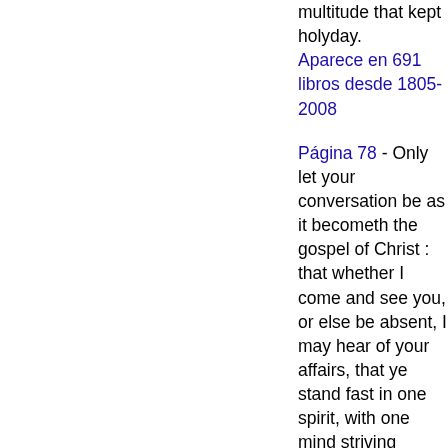multitude that kept holyday.
Aparece en 691 libros desde 1805-2008
Página 78 - Only let your conversation be as it becometh the gospel of Christ : that whether I come and see you, or else be absent, I may hear of your affairs, that ye stand fast in one spirit, with one mind striving together for the faith of the gospel...
Aparece en 817 libros desde 1714-2008
Página 414 - But Jesus said, Forbid him not : for there is no man which shall do a miracle in my